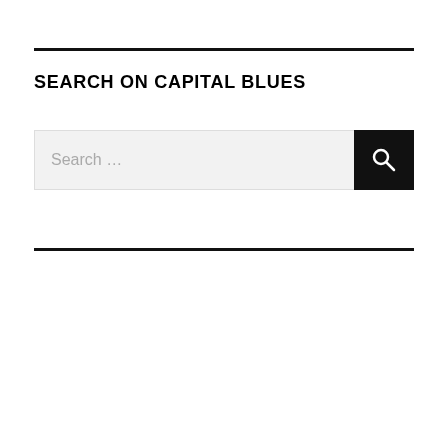SEARCH ON CAPITAL BLUES
[Figure (screenshot): Search input field with placeholder text 'Search ...' and a black search button with magnifying glass icon]